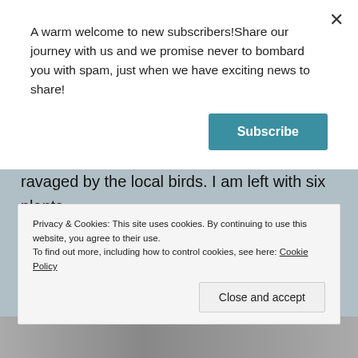A warm welcome to new subscribers!Share our journey with us and we promise never to bombard you with spam, just when we have exciting news to share!
Subscribe
Dahlias are another favourite flower and almost managed to reach the flowering stage last year. Determined as ever, I tried again this year, only to have the seed trays ravaged by the local birds. I am left with six plants.
[Figure (photo): Partial view of photograph at bottom of page, appears to show outdoor or garden scene]
Privacy & Cookies: This site uses cookies. By continuing to use this website, you agree to their use.
To find out more, including how to control cookies, see here: Cookie Policy
Close and accept